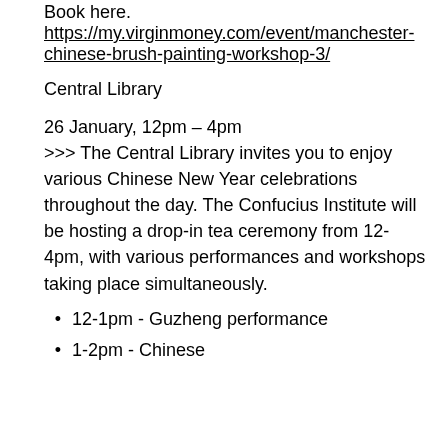Book here: https://my.virginmoney.com/event/manchester-chinese-brush-painting-workshop-3/
Central Library
26 January, 12pm – 4pm >>> The Central Library invites you to enjoy various Chinese New Year celebrations throughout the day. The Confucius Institute will be hosting a drop-in tea ceremony from 12-4pm, with various performances and workshops taking place simultaneously.
12-1pm - Guzheng performance
1-2pm - Chinese